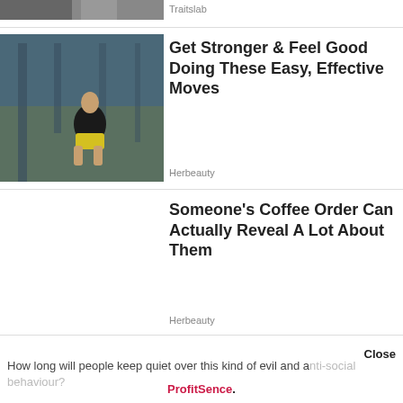[Figure (photo): Partial top strip of a photo (people)]
Traitslab
[Figure (photo): Woman in athletic wear doing squats outdoors]
Get Stronger & Feel Good Doing These Easy, Effective Moves
Herbeauty
Someone's Coffee Order Can Actually Reveal A Lot About Them
Herbeauty
Close
How long will people keep quiet over this kind of evil and anti-social behaviour?
ProfitSence.